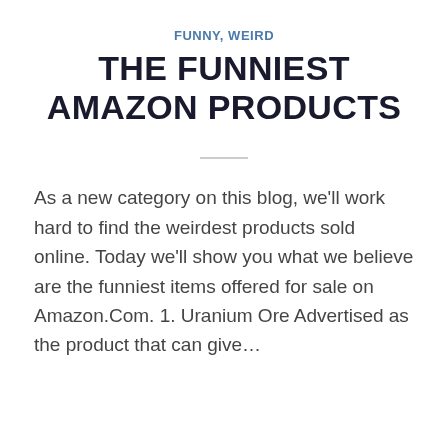FUNNY, WEIRD
THE FUNNIEST AMAZON PRODUCTS
As a new category on this blog, we'll work hard to find the weirdest products sold online. Today we'll show you what we believe are the funniest items offered for sale on Amazon.Com. 1. Uranium Ore Advertised as the product that can give…